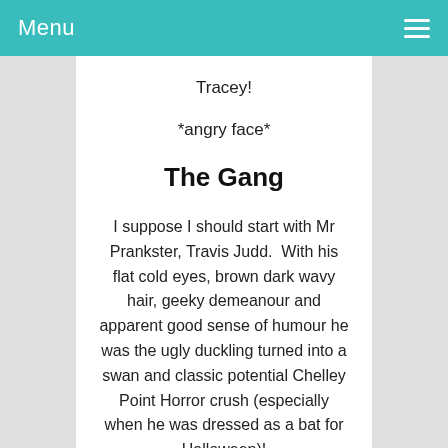Menu
Tracey!
*angry face*
The Gang
I suppose I should start with Mr Prankster, Travis Judd.  With his flat cold eyes, brown dark wavy hair, geeky demeanour and apparent good sense of humour he was the ugly duckling turned into a swan and classic potential Chelley Point Horror crush (especially when he was dressed as a bat for Halloween)!
But OH NO!  He went and spoiled it didn't he!  Yes I'm a little bitter!  He took Tracey crushing his eighth grade heart and his temperamental streak way too far with too